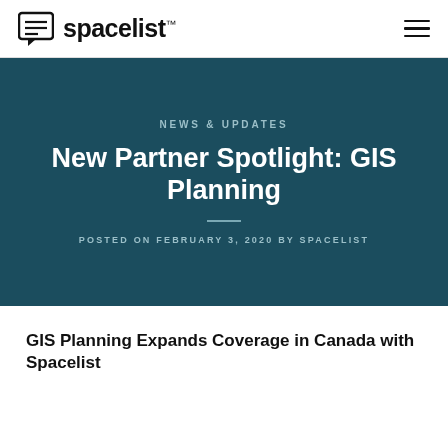spacelist™
NEWS & UPDATES
New Partner Spotlight: GIS Planning
POSTED ON FEBRUARY 3, 2020 BY SPACELIST
GIS Planning Expands Coverage in Canada with Spacelist